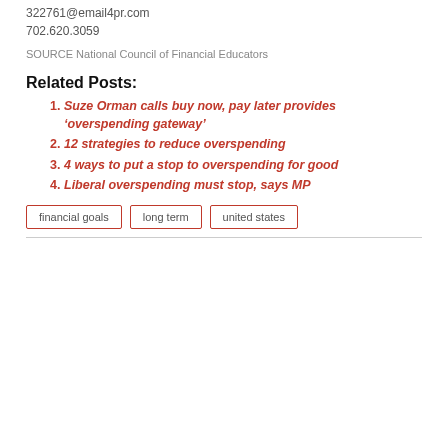322761@email4pr.com
702.620.3059
SOURCE National Council of Financial Educators
Related Posts:
Suze Orman calls buy now, pay later provides ‘overspending gateway’
12 strategies to reduce overspending
4 ways to put a stop to overspending for good
Liberal overspending must stop, says MP
financial goals   long term   united states